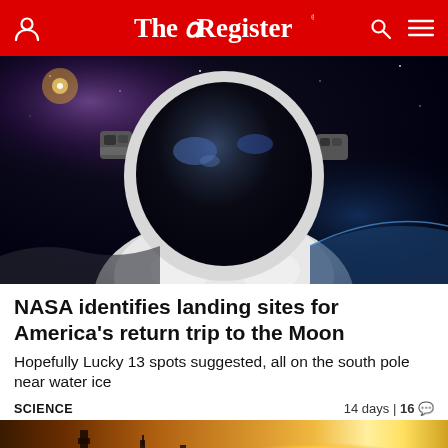The Register
[Figure (photo): Close-up of an astronaut in a white spacesuit with a dark reflective visor helmet, floating in space with Earth and stars in the background]
NASA identifies landing sites for America's return trip to the Moon
Hopefully Lucky 13 spots suggested, all on the south pole near water ice
SCIENCE   14 days | 16 💬
[Figure (photo): Partial view of a building or structure silhouetted against an orange sunset sky]